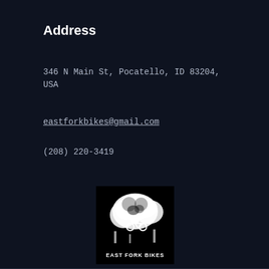Address
346 N Main St, Pocatello, ID 83204, USA
eastforkbikes@gmail.com
(208) 220-3419
[Figure (logo): East Fork Bikes logo — black and white image of a mountain biker with trees, text 'East Fork Bikes' at bottom]